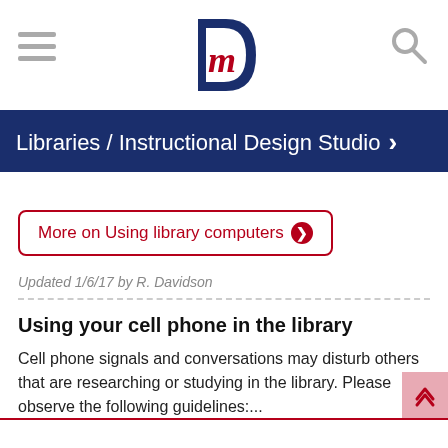[Figure (logo): University logo with gothic M letter in red and blue, hamburger menu icon on left, search icon on right]
Libraries / Instructional Design Studio >
More on Using library computers >
Updated 1/6/17 by R. Davidson
Using your cell phone in the library
Cell phone signals and conversations may disturb others that are researching or studying in the library. Please observe the following guidelines:...